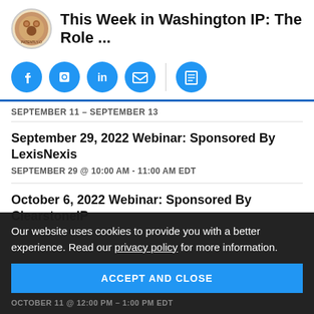This Week in Washington IP: The Role ...
[Figure (logo): Circular logo with illustrated cookie/bear design]
[Figure (infographic): Social sharing icons: Twitter, Facebook, LinkedIn, Email, Print]
SEPTEMBER 11 - SEPTEMBER 13
September 29, 2022 Webinar: Sponsored By LexisNexis
SEPTEMBER 29 @ 10:00 AM - 11:00 AM EDT
October 6, 2022 Webinar: Sponsored By ClearstoneIP
Our website uses cookies to provide you with a better experience. Read our privacy policy for more information.
ACCEPT AND CLOSE
OCTOBER 11 @ 12:00 PM - 1:00 PM EDT